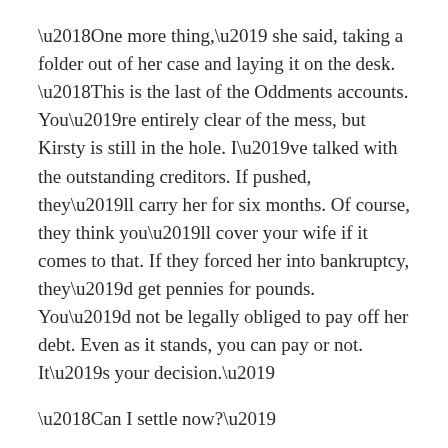‘One more thing,’ she said, taking a folder out of her case and laying it on the desk. ‘This is the last of the Oddments accounts. You’re entirely clear of the mess, but Kirsty is still in the hole. I’ve talked with the outstanding creditors. If pushed, they’ll carry her for six months. Of course, they think you’ll cover your wife if it comes to that. If they forced her into bankruptcy, they’d get pennies for pounds. You’d not be legally obliged to pay off her debt. Even as it stands, you can pay or not. It’s your decision.’
‘Can I settle now?’
‘It’s your decision, Steven. You’ve enough in the accounts, even after expenses like me, but it’d leave you stretched. I’d let it roll.’
Last year, Kirsty had started up a small business, on